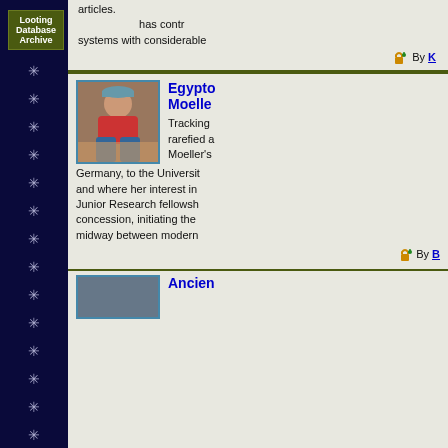[Figure (screenshot): Navigation button labeled 'Looting Database Archive' on dark blue sidebar with decorative snowflake/asterisk pattern]
articles. has contr systems with considerable
By K
[Figure (photo): Photo of a person crouching at an archaeological excavation site, wearing a red shirt and baseball cap]
Egyptologist Nadine Moelle...
Tracking rarefied a Moeller's Germany, to the Universit and where her interest in Junior Research fellowsh concession, initiating the midway between modern
By B
[Figure (photo): Partially visible thumbnail image at bottom of page]
Ancien...